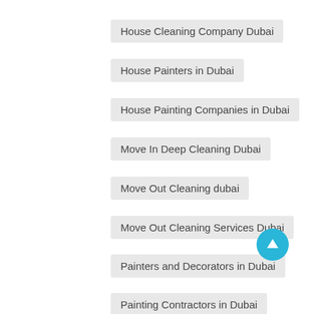House Cleaning Company Dubai
House Painters in Dubai
House Painting Companies in Dubai
Move In Deep Cleaning Dubai
Move Out Cleaning dubai
Move Out Cleaning Services Dubai
Painters and Decorators in Dubai
Painting Contractors in Dubai
Painting Services Dubai Dubai
Painting Services in Dubai